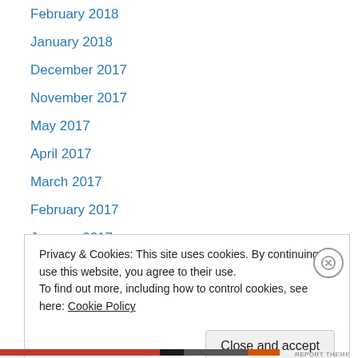February 2018
January 2018
December 2017
November 2017
May 2017
April 2017
March 2017
February 2017
January 2017
December 2016
November 2016
October 2016
September 2016
Privacy & Cookies: This site uses cookies. By continuing to use this website, you agree to their use.
To find out more, including how to control cookies, see here: Cookie Policy